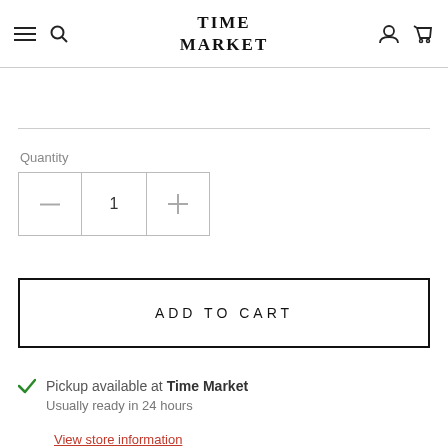TIME MARKET
Quantity
[Figure (other): Quantity selector with minus button, value of 1, and plus button]
ADD TO CART
Pickup available at Time Market
Usually ready in 24 hours
View store information